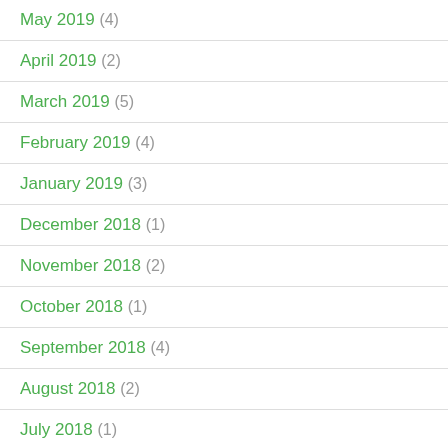May 2019 (4)
April 2019 (2)
March 2019 (5)
February 2019 (4)
January 2019 (3)
December 2018 (1)
November 2018 (2)
October 2018 (1)
September 2018 (4)
August 2018 (2)
July 2018 (1)
June 2018 (3)
May 2018 (1)